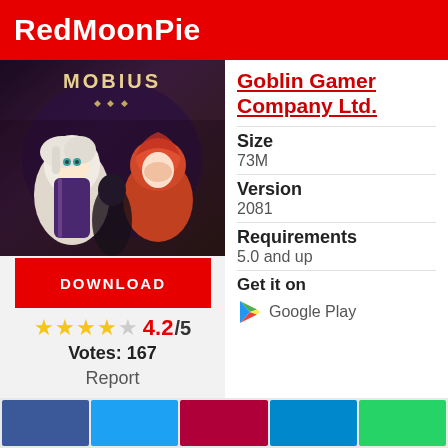RedMoonPie
[Figure (screenshot): Mobius game cover art with anime-style characters]
DOWNLOAD
★★★★☆ 4.2/5
Votes: 167
Report
Goblin Gamer Company Ltd.
Size
73M
Version
2081
Requirements
5.0 and up
Get it on
Google Play